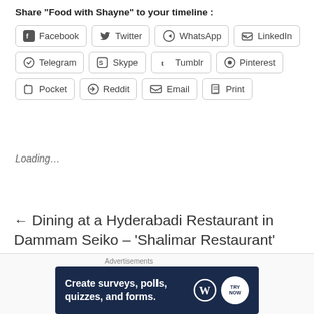Share "Food with Shayne" to your timeline :
Facebook | Twitter | WhatsApp | LinkedIn | Telegram | Skype | Tumblr | Pinterest | Pocket | Reddit | Email | Print
Loading…
← Dining at a Hyderabadi Restaurant in Dammam Seiko – 'Shalimar Restaurant'
Advertisements
[Figure (infographic): Advertisement banner: Create surveys, polls, quizzes, and forms. WordPress logo and a badge icon on dark navy background.]